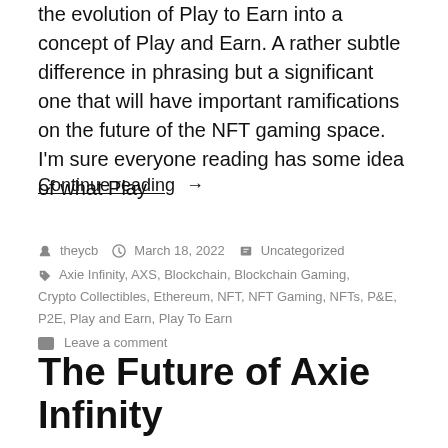the evolution of Play to Earn into a concept of Play and Earn. A rather subtle difference in phrasing but a significant one that will have important ramifications on the future of the NFT gaming space. I'm sure everyone reading has some idea of what Play
Continue reading  →
By theycb  March 18, 2022  Uncategorized
Axie Infinity, AXS, Blockchain, Blockchain Gaming, Crypto Collectibles, Ethereum, NFT, NFT Gaming, NFTs, P&E, P2E, Play and Earn, Play To Earn
Leave a comment
The Future of Axie Infinity